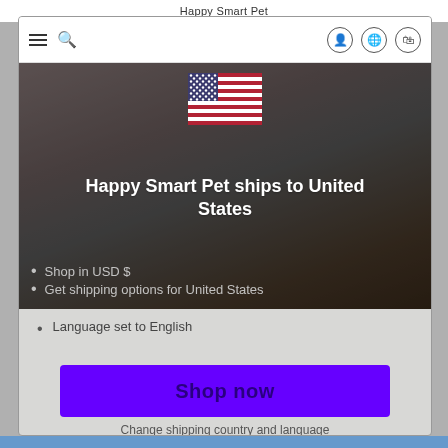Happy Smart Pet
[Figure (screenshot): Modal popup overlay on e-commerce site showing US flag, shipping destination message, shop now button, and navigation bar]
Happy Smart Pet ships to United States
Shop in USD $
Get shipping options for United States
Language set to English
Shop now
Change shipping country and language